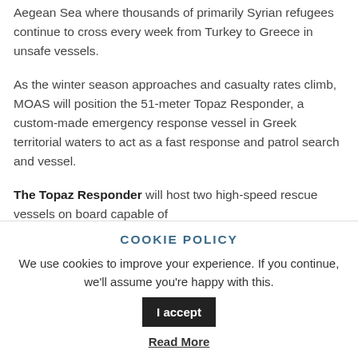Aegean Sea where thousands of primarily Syrian refugees continue to cross every week from Turkey to Greece in unsafe vessels.
As the winter season approaches and casualty rates climb, MOAS will position the 51-meter Topaz Responder, a custom-made emergency response vessel in Greek territorial waters to act as a fast response and patrol search and vessel.
The Topaz Responder will host two high-speed rescue vessels on board capable of
COOKIE POLICY
We use cookies to improve your experience. If you continue, we'll assume you're happy with this.
I accept
Read More